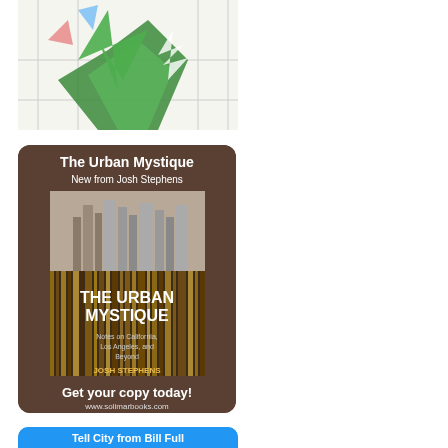[Figure (illustration): Partial illustration showing green palm/tropical trees with colorful triangular shapes, appears to be top portion of an image cut off at top of page]
[Figure (photo): Book advertisement for 'The Urban Mystique' by Josh Stephens. Dark brown rounded-rectangle background. Top text: 'The Urban Mystique / New from Josh Stephens'. Center shows book cover with LA skyline and vertical barcode-like stripes. Book title on cover: 'THE URBAN MYSTIQUE / Notes on California, Los Angeles, and Beyond / JOSH STEPHENS'. Bottom text: 'Get your copy today! / www.solimarbooks.com']
[Figure (other): Partial blue rounded button/banner at bottom of page, partially cut off, appears to contain text starting with 'Tell City...' or similar]